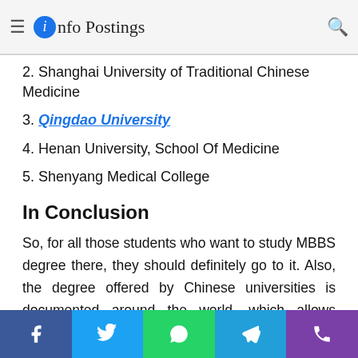Info Postings — Some Chinese Universities for Study MBBS in China
2. Shanghai University of Traditional Chinese Medicine
3. Qingdao University
4. Henan University, School Of Medicine
5. Shenyang Medical College
In Conclusion
So, for all those students who want to study MBBS degree there, they should definitely go to it. Also, the degree offered by Chinese universities is documented around the world, which allows students to work after graduation wherever they choose. Not only that, universities have the best graduates and the best places for all students when preparing for an